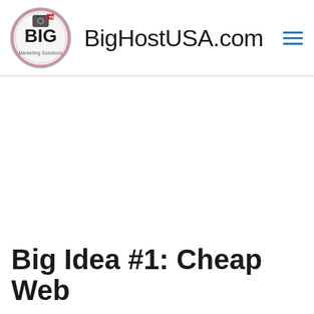BigHostUSA.com
Big Idea #1: Cheap Web